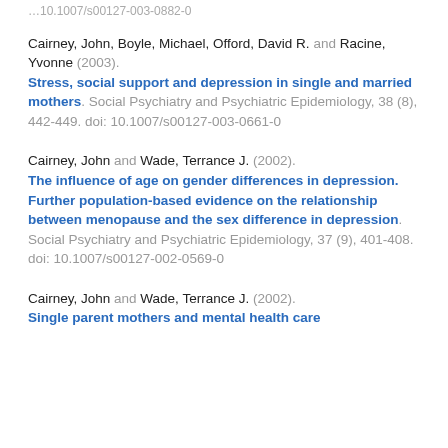…10.1007/s00127-003-0882-0
Cairney, John, Boyle, Michael, Offord, David R. and Racine, Yvonne (2003). Stress, social support and depression in single and married mothers. Social Psychiatry and Psychiatric Epidemiology, 38 (8), 442-449. doi: 10.1007/s00127-003-0661-0
Cairney, John and Wade, Terrance J. (2002). The influence of age on gender differences in depression. Further population-based evidence on the relationship between menopause and the sex difference in depression. Social Psychiatry and Psychiatric Epidemiology, 37 (9), 401-408. doi: 10.1007/s00127-002-0569-0
Cairney, John and Wade, Terrance J. (2002). Single parent mothers and mental health care use.